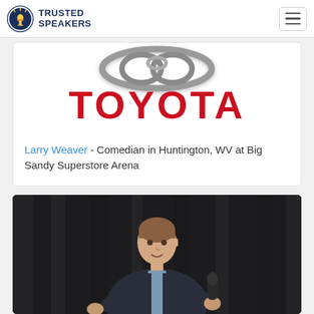TRUSTED SPEAKERS
[Figure (logo): Toyota logo — chrome oval rings above the red TOYOTA wordmark]
Larry Weaver - Comedian in Huntington, WV at Big Sandy Superstore Arena
[Figure (photo): A man in a dark suit holding a microphone on stage in front of dark curtains, speaking or performing]